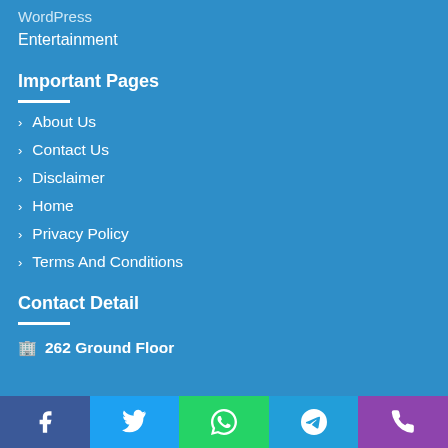WordPress
Entertainment
Important Pages
About Us
Contact Us
Disclaimer
Home
Privacy Policy
Terms And Conditions
Contact Detail
262 Ground Floor
[Figure (infographic): Social media sharing bar at the bottom with five buttons: Facebook (blue), Twitter (light blue), WhatsApp (green), Telegram (teal), Phone (purple), each containing their respective icons.]